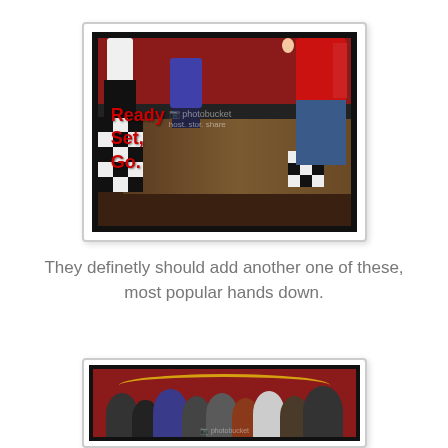[Figure (photo): Photo of children at a bowling-style lane activity in an entertainment venue. Red text overlay reads 'Ready Set Go' with a Photobucket watermark visible. Black and white checkered floor visible on the left, children and adults standing around the lane.]
They definetly should add another one of these, most popular hands down.
[Figure (photo): Photo of a group of children crowded together in a red-walled entertainment venue, partially visible at bottom of page. Photobucket watermark visible.]